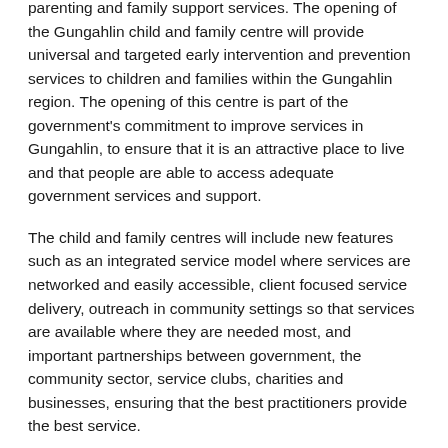parenting and family support services. The opening of the Gungahlin child and family centre will provide universal and targeted early intervention and prevention services to children and families within the Gungahlin region. The opening of this centre is part of the government's commitment to improve services in Gungahlin, to ensure that it is an attractive place to live and that people are able to access adequate government services and support.
The child and family centres will include new features such as an integrated service model where services are networked and easily accessible, client focused service delivery, outreach in community settings so that services are available where they are needed most, and important partnerships between government, the community sector, service clubs, charities and businesses, ensuring that the best practitioners provide the best service.
At times, children and their families require additional